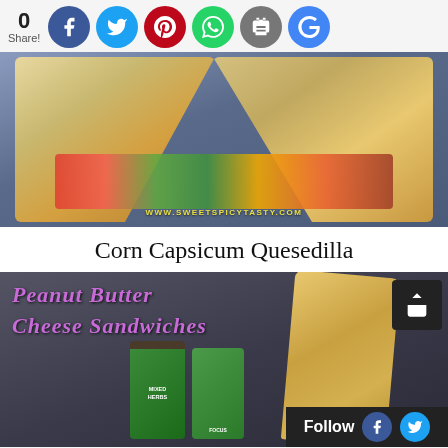[Figure (infographic): Social sharing bar with count 0 and social media icons: Facebook, Twitter, Pinterest, WhatsApp, Print, Google+]
[Figure (photo): Photo of Corn Capsicum Quesedilla cut in half showing colorful vegetable filling, with watermark www.sweetspicytasty.com]
Corn Capsicum Quesedilla
[Figure (photo): Photo of Peanut Butter Cheese Sandwiches with purple-text overlay reading 'Peanut Butter Cheese Sandwiches', showing herb cans and toasted sandwiches, with share icon and Follow bar with Facebook and Twitter icons]